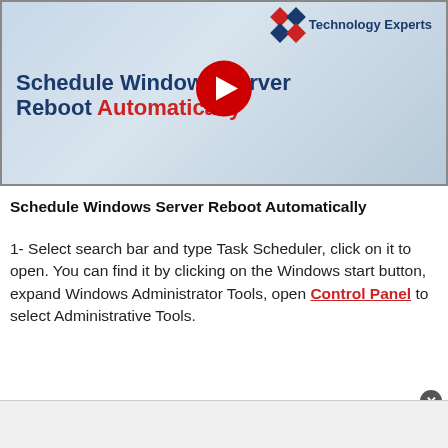[Figure (screenshot): Video thumbnail for 'Schedule Windows Server Reboot Automatically' with YouTube play button overlay, technology experts logo with diamond shapes in red and blue, and light blue tiled background.]
Schedule Windows Server Reboot Automatically
1- Select search bar and type Task Scheduler, click on it to open. You can find it by clicking on the Windows start button, expand Windows Administrator Tools, open Control Panel to select Administrative Tools.